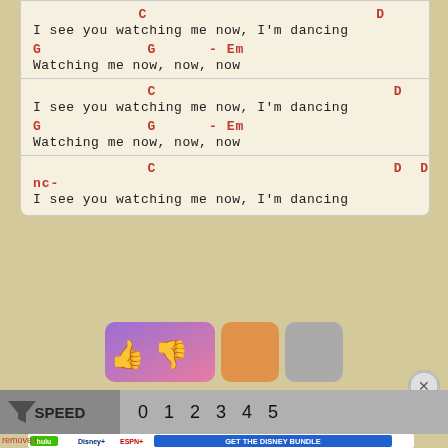C                          D
I see you watching me now, I'm dancing
G            G      - Em
Watching me now, now, now
             C                          D
I see you watching me now, I'm dancing
G            G      - Em
Watching me now, now, now
             C                          D  D    -nc-
I see you watching me now, I'm dancing
[Figure (screenshot): Rating buttons: thumbs up/down on purple-pink gradient, orange button, gray button]
SPEED   0   1   2   3   4   5
[Figure (screenshot): Disney Bundle advertisement: hulu, Disney+, ESPN+ logos, GET THE DISNEY BUNDLE]